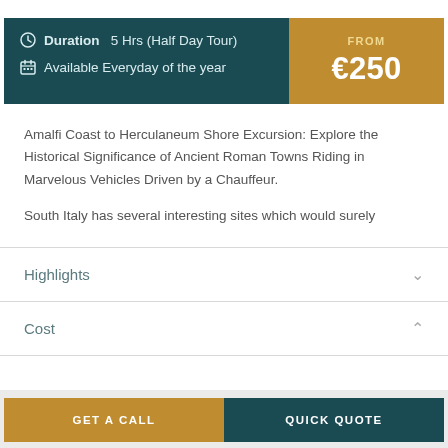Duration   5 Hrs (Half Day Tour)
Available Everyday of the year
FROM €250
Amalfi Coast to Herculaneum Shore Excursion: Explore the Historical Significance of Ancient Roman Towns Riding in Marvelous Vehicles Driven by a Chauffeur.
South Italy has several interesting sites which would surely
Highlights
Cost
GET A CALL
QUICK QUOTE